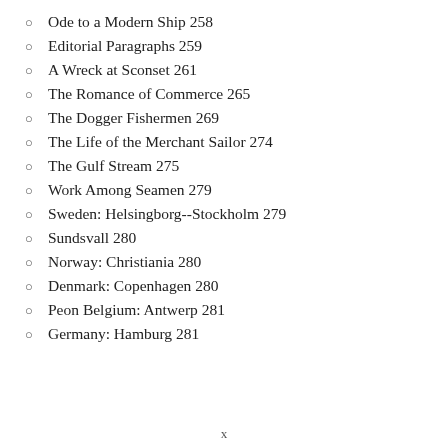Ode to a Modern Ship 258
Editorial Paragraphs 259
A Wreck at Sconset 261
The Romance of Commerce 265
The Dogger Fishermen 269
The Life of the Merchant Sailor 274
The Gulf Stream 275
Work Among Seamen 279
Sweden: Helsingborg--Stockholm 279
Sundsvall 280
Norway: Christiania 280
Denmark: Copenhagen 280
Peon Belgium: Antwerp 281
Germany: Hamburg 281
x